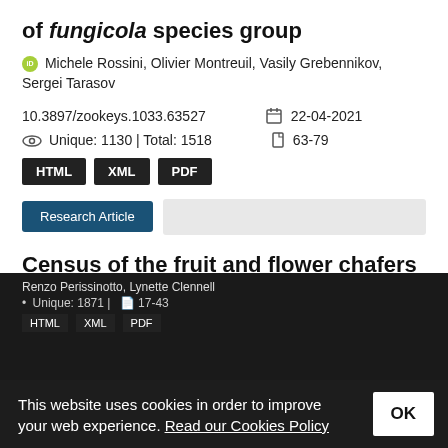of fungicola species group
Michele Rossini, Olivier Montreuil, Vasily Grebennikov, Sergei Tarasov
10.3897/zookeys.1033.63527   22-04-2021   Unique: 1130 | Total: 1518   63-79
HTML  XML  PDF
Research Article
Census of the fruit and flower chafers (Coleoptera, Scarabaeidae, Cetoniinae) of the Macau SAR, China
Renzo Perissinotto, Lynette Clennell
Unique: 1871 |   17-43
This website uses cookies in order to improve your web experience. Read our Cookies Policy   OK